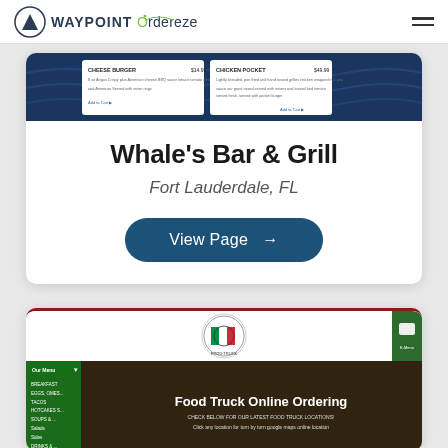Waypoint Ordereze
[Figure (screenshot): Screenshot of Whale's Bar & Grill restaurant menu page with dark blue background and wave pattern, showing two menu item cards]
Whale's Bar & Grill
Fort Lauderdale, FL
View Page →
[Figure (screenshot): Screenshot of Food Truck Online Ordering website with green sidebar navigation, circular food truck logo, and dark background hero section reading 'Food Truck Online Ordering']